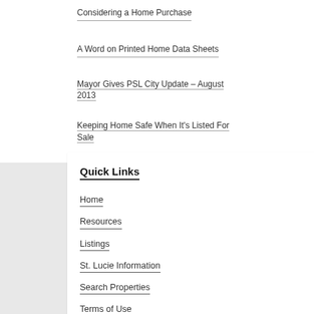Considering a Home Purchase
A Word on Printed Home Data Sheets
Mayor Gives PSL City Update – August 2013
Keeping Home Safe When It's Listed For Sale
Quick Links
Home
Resources
Listings
St. Lucie Information
Search Properties
Terms of Use